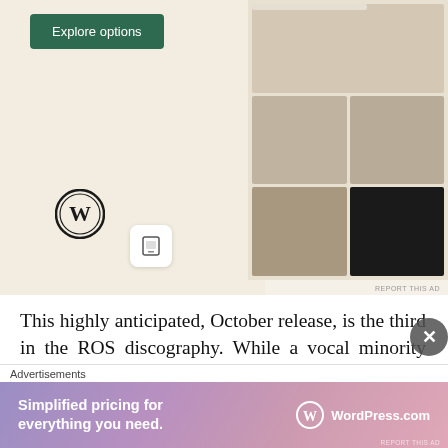[Figure (screenshot): Advertisement showing WordPress.com with 'Explore options' green button, WordPress logo, phone icon, and food website screenshots on right side. 'REPORT THIS AD' text at bottom right.]
This highly anticipated, October release, is the third in the ROS discography. While a vocal minority does criticize the band about relying on digitized effects, the individuals most likely to be surprised by this record will be the conservative fans, who merely expect Lungal Ki En to be good. Surprise! It is actually downright great. It does all the things an outstanding album does: acknowledge and fix the weak points of previous records, while remaining
[Figure (screenshot): Bottom advertisement: 'Advertisements' label followed by WordPress.com ad with purple/pink gradient background. Text reads 'Simplified pricing for everything you need.' with WordPress.com logo on right. 'REPORT THIS AD' text at bottom right.]